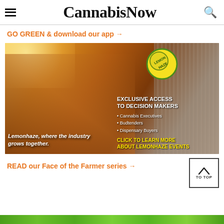CannabisNow
GO GREEN & download our app →
[Figure (photo): Lemonhaze cannabis industry event advertisement showing group of people at outdoor event, with text: EXCLUSIVE ACCESS TO DECISION MAKERS • Cannabis Executives • Budtenders • Dispensary Buyers. CLICK TO LEARN MORE ABOUT LEMONHAZE EVENTS. Lemonhaze, where the industry grows together.]
READ our Face of the Farmer series →